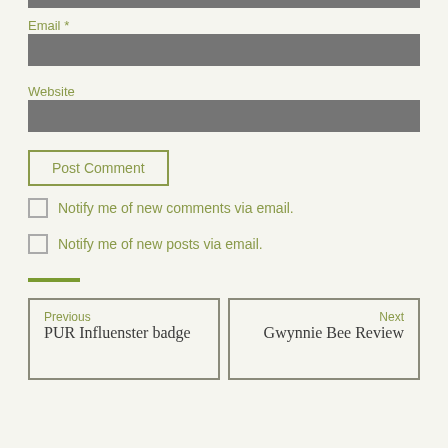Email *
[Figure (other): Email input field (filled gray box)]
Website
[Figure (other): Website input field (filled gray box)]
Post Comment
Notify me of new comments via email.
Notify me of new posts via email.
Previous
PUR Influenster badge
Next
Gwynnie Bee Review